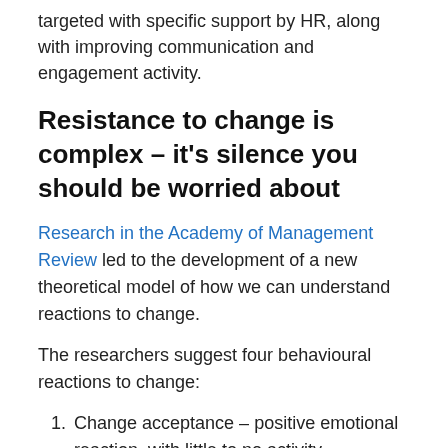targeted with specific support by HR, along with improving communication and engagement activity.
Resistance to change is complex – it's silence you should be worried about
Research in the Academy of Management Review led to the development of a new theoretical model of how we can understand reactions to change.
The researchers suggest four behavioural reactions to change:
Change acceptance – positive emotional reaction, with little to no activity.
Change disengagement – negative emotional reaction, with little to no activity.